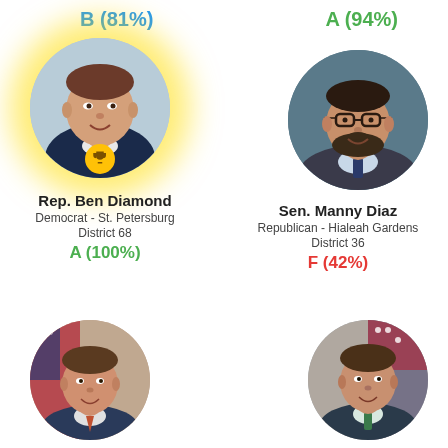B (81%)
A (94%)
[Figure (photo): Circular portrait photo of Rep. Ben Diamond with yellow glow and trophy badge]
Rep. Ben Diamond
Democrat - St. Petersburg
District 68
A (100%)
[Figure (photo): Circular portrait photo of Sen. Manny Diaz]
Sen. Manny Diaz
Republican - Hialeah Gardens
District 36
F (42%)
[Figure (photo): Circular portrait photo of unidentified legislator (bottom left)]
[Figure (photo): Circular portrait photo of unidentified legislator (bottom right)]